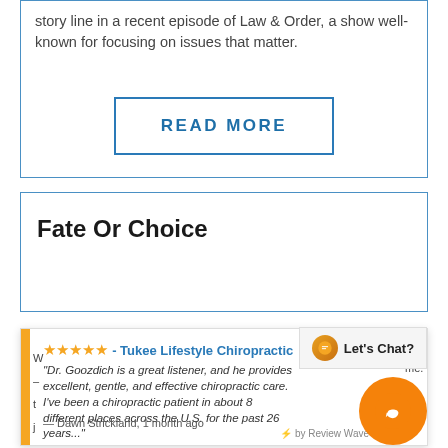story line in a recent episode of Law & Order, a show well-known for focusing on issues that matter.
[Figure (other): READ MORE button with blue border]
Fate Or Choice
[Figure (other): Review popup from Tukee Lifestyle Chiropractic — 5 stars — Dr. Goozdich is a great listener, and he provides excellent, gentle, and effective chiropractic care. I've been a chiropractic patient in about 8 different places across the U.S. for the past 26 years... — Dawn Strickland, 1 month ago — by Review Wave. With chat overlay showing Let's Chat? button.]